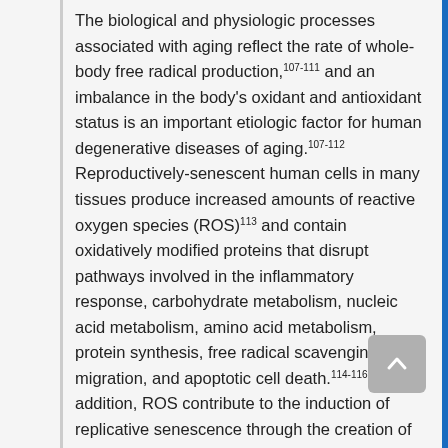The biological and physiologic processes associated with aging reflect the rate of whole-body free radical production,107-111 and an imbalance in the body's oxidant and antioxidant status is an important etiologic factor for human degenerative diseases of aging.107-112 Reproductively-senescent human cells in many tissues produce increased amounts of reactive oxygen species (ROS)113 and contain oxidatively modified proteins that disrupt pathways involved in the inflammatory response, carbohydrate metabolism, nucleic acid metabolism, amino acid metabolism, protein synthesis, free radical scavenging, cell migration, and apoptotic cell death.114-116 In addition, ROS contribute to the induction of replicative senescence through the creation of foci of oxidatively-modified DNA, including at telomeres. 117
The telomere strand of TTAGGG repeats is particularly sensitive to oxidative stress because these strands